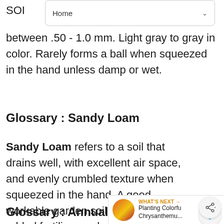Home
between .50 - 1.0 mm. Light gray to gray in color. Rarely forms a ball when squeezed in the hand unless damp or wet.
Glossary : Sandy Loam
Sandy Loam refers to a soil that drains well, with excellent air space, and evenly crumbled texture when squeezed in the hand. A good workable garden soil that benefits from added fertilizer and proper watering. Dark gray to gray-brown in color.
Glossary : Annual